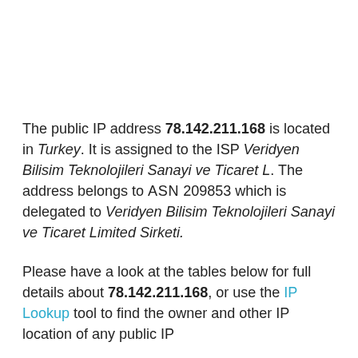The public IP address 78.142.211.168 is located in Turkey. It is assigned to the ISP Veridyen Bilisim Teknolojileri Sanayi ve Ticaret L. The address belongs to ASN 209853 which is delegated to Veridyen Bilisim Teknolojileri Sanayi ve Ticaret Limited Sirketi.
Please have a look at the tables below for full details about 78.142.211.168, or use the IP Lookup tool to find the owner and other IP location of any public IP...